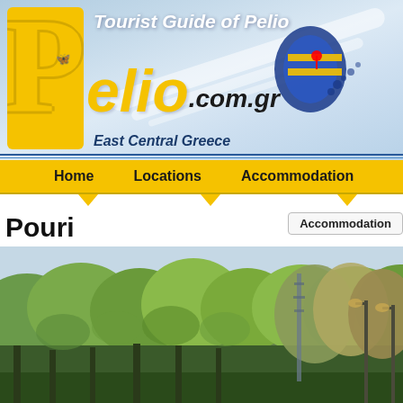[Figure (screenshot): Pelio.com.gr website header banner with logo showing a yellow letter P on yellow background, butterfly symbol, text 'Tourist Guide of Pelio', 'pelio.com.gr', 'East Central Greece', and a map of Greece]
Tourist Guide of Pelio | pelio.com.gr | East Central Greece
Home
Locations
Accommodation
Pouri
Accommodation
[Figure (photo): Outdoor photograph showing dense green forest trees with tall lamp posts visible on the right side against a light blue sky]